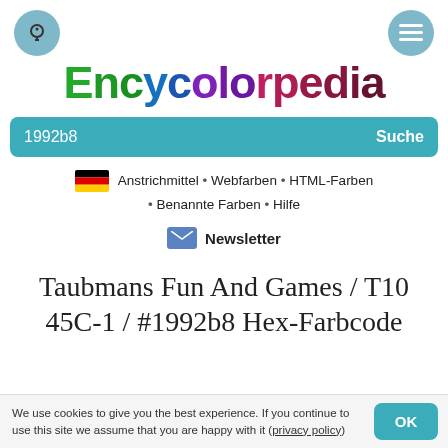Encycolorpedia
1992b8   Suche
Anstrichmittel • Webfarben • HTML-Farben • Benannte Farben • Hilfe
Newsletter
Taubmans Fun And Games / T10 45C-1 / #1992b8 Hex-Farbcode
We use cookies to give you the best experience. If you continue to use this site we assume that you are happy with it (privacy policy)